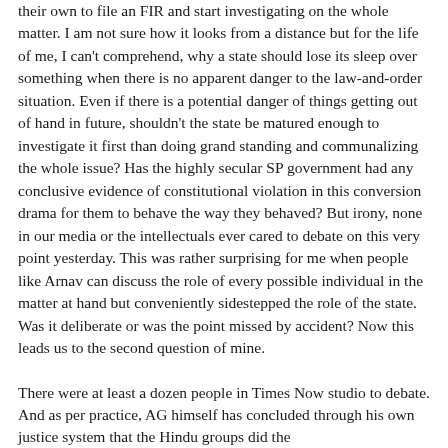their own to file an FIR and start investigating on the whole matter. I am not sure how it looks from a distance but for the life of me, I can't comprehend, why a state should lose its sleep over something when there is no apparent danger to the law-and-order situation. Even if there is a potential danger of things getting out of hand in future, shouldn't the state be matured enough to investigate it first than doing grand standing and communalizing the whole issue? Has the highly secular SP government had any conclusive evidence of constitutional violation in this conversion drama for them to behave the way they behaved? But irony, none in our media or the intellectuals ever cared to debate on this very point yesterday. This was rather surprising for me when people like Arnav can discuss the role of every possible individual in the matter at hand but conveniently sidestepped the role of the state. Was it deliberate or was the point missed by accident? Now this leads us to the second question of mine.
There were at least a dozen people in Times Now studio to debate. And as per practice, AG himself has concluded through his own justice system that the Hindu groups did the